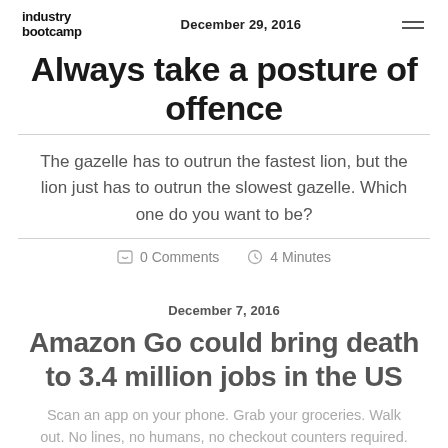industry bootcamp | December 29, 2016
Always take a posture of offence
The gazelle has to outrun the fastest lion, but the lion just has to outrun the slowest gazelle. Which one do you want to be?
0 Comments   4 Minutes
December 7, 2016
Amazon Go could bring death to 3.4 million jobs in the US
Scan an app on your phone. Grab your groceries. Walk out. No lines, no humans, no checkout counters required.
0 Comments   6 Minutes